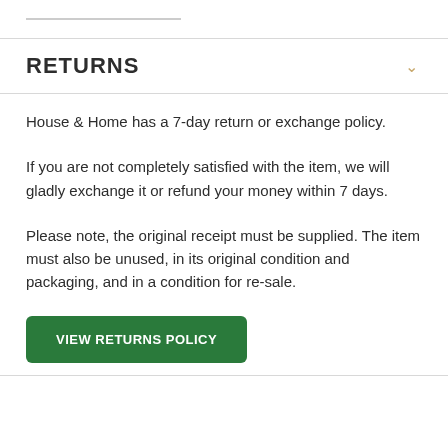RETURNS
House & Home has a 7-day return or exchange policy.
If you are not completely satisfied with the item, we will gladly exchange it or refund your money within 7 days.
Please note, the original receipt must be supplied. The item must also be unused, in its original condition and packaging, and in a condition for re-sale.
VIEW RETURNS POLICY